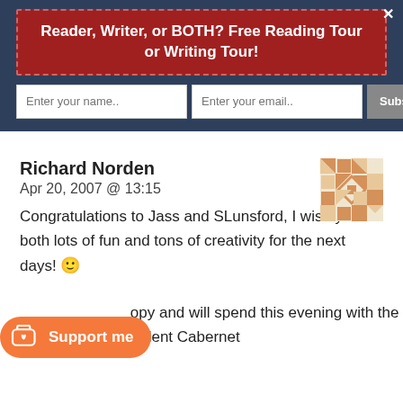Reader, Writer, or BOTH? Free Reading Tour or Writing Tour!
Enter your name.. | Enter your email.. | Subscribe Now
Richard Norden
Apr 20, 2007 @ 13:15
Congratulations to Jass and SLunsford, I wish you both lots of fun and tons of creativity for the next days! 🙂
...opy and will spend this evening with the plot clinic, an excellent Cabernet
Support me